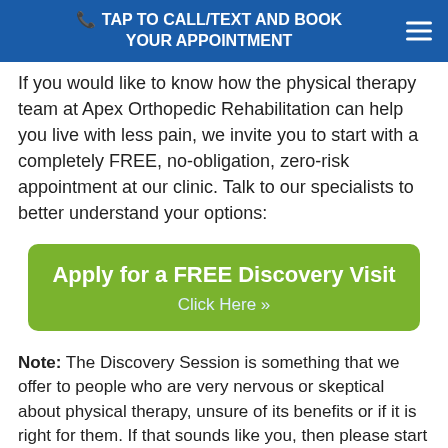TAP TO CALL/TEXT AND BOOK YOUR APPOINTMENT
If you would like to know how the physical therapy team at Apex Orthopedic Rehabilitation can help you live with less pain, we invite you to start with a completely FREE, no-obligation, zero-risk appointment at our clinic. Talk to our specialists to better understand your options:
[Figure (other): Green call-to-action button: 'Apply for a FREE Discovery Visit' with 'Click Here »' subtext]
Note: The Discovery Session is something that we offer to people who are very nervous or skeptical about physical therapy, unsure of its benefits or if it is right for them. If that sounds like you, then please start with a Discovery